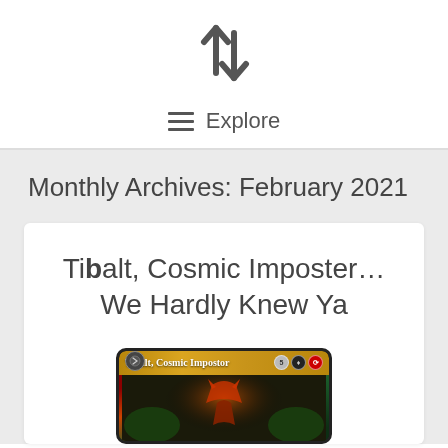[Figure (logo): Website logo — two angular arrow-like strokes forming an up-left and down-right pair, rendered in dark grey]
☰  Explore
Monthly Archives: February 2021
Tibalt, Cosmic Imposter… We Hardly Knew Ya
[Figure (photo): Magic: The Gathering card — Tibalt, Cosmic Impostor — showing golden card header with card name, mana cost 5BR, and fantasy art of a demonic figure]